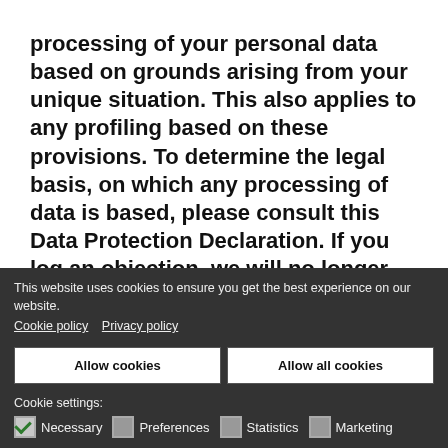processing of your personal data based on grounds arising from your unique situation. This also applies to any profiling based on these provisions. To determine the legal basis, on which any processing of data is based, please consult this Data Protection Declaration. If you log an objection, we will no longer process your affected personal data, unless we are in a position to present compelling protection worthy grounds for
This website uses cookies to ensure you get the best experience on our website. Cookie policy   Privacy policy
Allow cookies
Allow all cookies
Cookie settings:
Necessary   Preferences   Statistics   Marketing